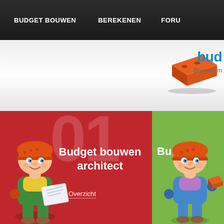BUDGET BOUWEN   BEREKENEN   FORU
[Figure (logo): Brick/logo icon with text 'bud' and 'Bouwen m' in blue, partial view]
[Figure (illustration): Red and green banner sections. Red section shows large watermark '01', bold white text 'Budget bouwen architect', 'Overzicht' link. Green section shows 'Bu' text. Two cartoon construction worker characters wearing orange helmets — left one holds blueprints, right one holds a brick.]